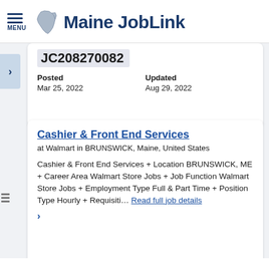Maine JobLink
JC208270082
Posted
Mar 25, 2022
Updated
Aug 29, 2022
Cashier & Front End Services
at Walmart in BRUNSWICK, Maine, United States
Cashier & Front End Services + Location BRUNSWICK, ME + Career Area Walmart Store Jobs + Job Function Walmart Store Jobs + Employment Type Full & Part Time + Position Type Hourly + Requisiti... Read full job details